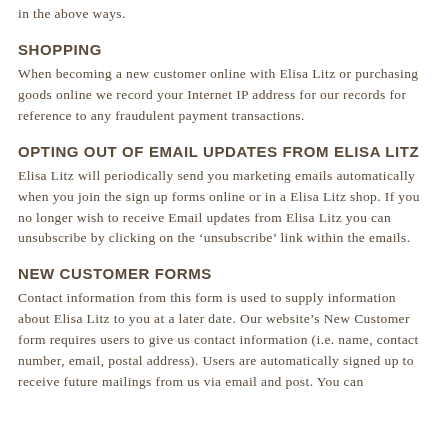in the above ways.
SHOPPING
When becoming a new customer online with Elisa Litz or purchasing goods online we record your Internet IP address for our records for reference to any fraudulent payment transactions.
OPTING OUT OF EMAIL UPDATES FROM ELISA LITZ
Elisa Litz will periodically send you marketing emails automatically when you join the sign up forms online or in a Elisa Litz shop. If you no longer wish to receive Email updates from Elisa Litz you can unsubscribe by clicking on the ‘unsubscribe’ link within the emails.
NEW CUSTOMER FORMS
Contact information from this form is used to supply information about Elisa Litz to you at a later date. Our website’s New Customer form requires users to give us contact information (i.e. name, contact number, email, postal address). Users are automatically signed up to receive future mailings from us via email and post. You can